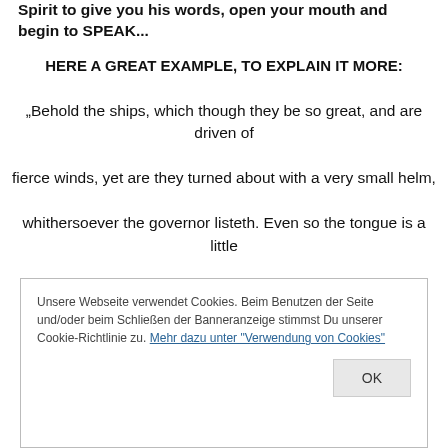Spirit to give you his words, open your mouth and begin to SPEAK...
HERE A GREAT EXAMPLE, TO EXPLAIN IT MORE:
„Behold the ships, which though they be so great, and are driven of fierce winds, yet are they turned about with a very small helm, whithersoever the governor listeth. Even so the tongue is a little
Unsere Webseite verwendet Cookies. Beim Benutzen der Seite und/oder beim Schließen der Banneranzeige stimmst Du unserer Cookie-Richtlinie zu. Mehr dazu unter "Verwendung von Cookies"